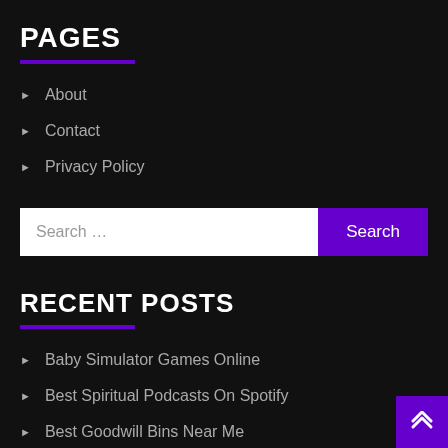PAGES
About
Contact
Privacy Policy
Search …
RECENT POSTS
Baby Simulator Games Online
Best Spiritual Podcasts On Spotify
Best Goodwill Bins Near Me